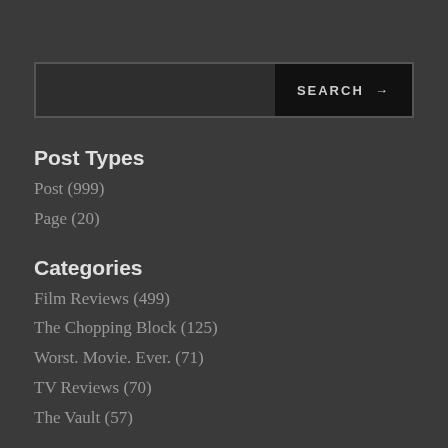Post Types
Post (999)
Page (20)
Categories
Film Reviews (499)
The Chopping Block (125)
Worst. Movie. Ever. (71)
TV Reviews (70)
The Vault (57)
Tags
Horror Movie (354)